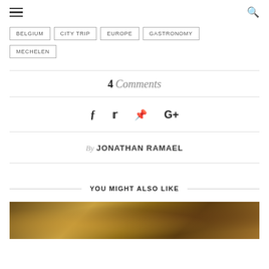navigation bar with hamburger menu and search icon
BELGIUM
CITY TRIP
EUROPE
GASTRONOMY
MECHELEN
4 Comments
[Figure (infographic): Social sharing icons: Facebook, Twitter, Pinterest, Google+]
By JONATHAN RAMAEL
YOU MIGHT ALSO LIKE
[Figure (photo): Dark photo of a bar with bottles on shelves and warm lighting]